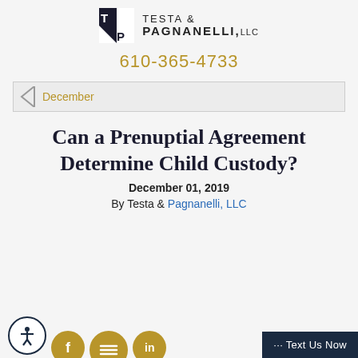[Figure (logo): Testa & Pagnanelli LLC law firm logo with black geometric TP monogram icon and firm name in uppercase letters]
610-365-4733
December
Can a Prenuptial Agreement Determine Child Custody?
December 01, 2019
By Testa & Pagnanelli, LLC